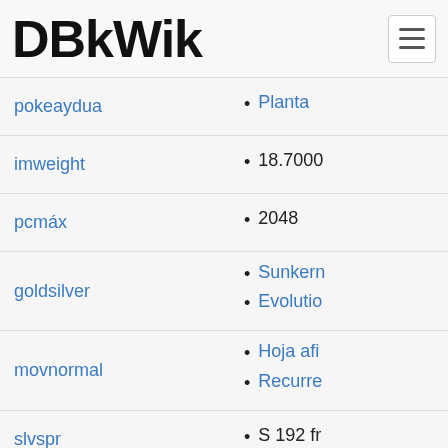DBkWik
pokeaydua • Planta
imweight • 18.7000
pcmáx • 2048
goldsilver • Sunkern • Evolutio
movnormal • Hoja afi • Recurre
slvspr • S 192 fr
perla • diamant
diamondlocate • Evolve S